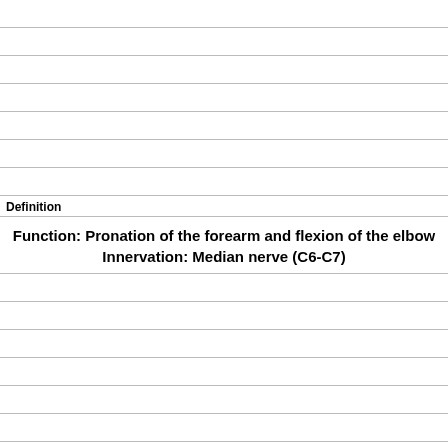Definition
Function: Pronation of the forearm and flexion of the elbow
Innervation: Median nerve (C6-C7)
Term
Median nerve